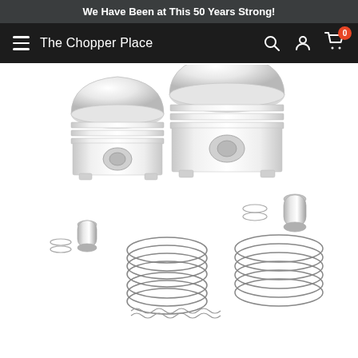We Have Been at This 50 Years Strong!
The Chopper Place
[Figure (photo): Two dome-top pistons (smaller on left, larger on right) with wrist pins, circlips, and multiple piston ring sets displayed on white background — engine piston kit components for a Harley-Davidson or similar motorcycle.]